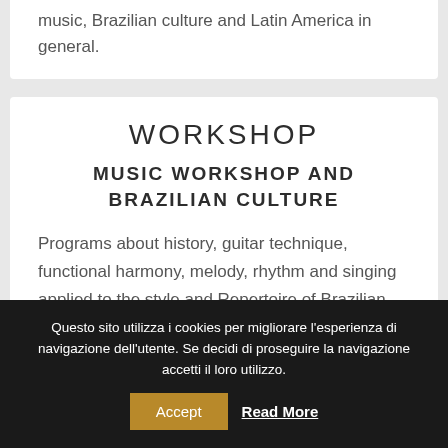music, Brazilian culture and Latin America in general.
WORKSHOP
MUSIC WORKSHOP AND BRAZILIAN CULTURE
Programs about history, guitar technique, functional harmony, melody, rhythm and singing applied to the style and Repertoire of Brazilian popular music.
Questo sito utilizza i cookies per migliorare l'esperienza di navigazione dell'utente. Se decidi di proseguire la navigazione accetti il loro utilizzo.
Accept
Read More